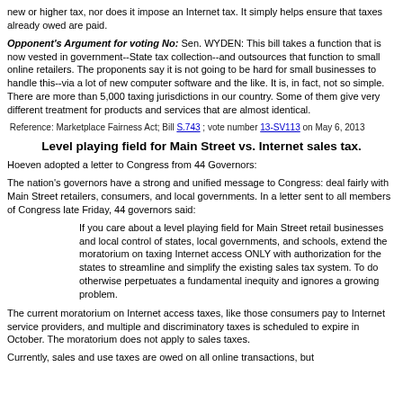new or higher tax, nor does it impose an Internet tax. It simply helps ensure that taxes already owed are paid.
Opponent's Argument for voting No: Sen. WYDEN: This bill takes a function that is now vested in government--State tax collection--and outsources that function to small online retailers. The proponents say it is not going to be hard for small businesses to handle this--via a lot of new computer software and the like. It is, in fact, not so simple. There are more than 5,000 taxing jurisdictions in our country. Some of them give very different treatment for products and services that are almost identical.
Reference: Marketplace Fairness Act; Bill S.743 ; vote number 13-SV113 on May 6, 2013
Level playing field for Main Street vs. Internet sales tax.
Hoeven adopted a letter to Congress from 44 Governors:
The nation’s governors have a strong and unified message to Congress: deal fairly with Main Street retailers, consumers, and local governments. In a letter sent to all members of Congress late Friday, 44 governors said:
If you care about a level playing field for Main Street retail businesses and local control of states, local governments, and schools, extend the moratorium on taxing Internet access ONLY with authorization for the states to streamline and simplify the existing sales tax system. To do otherwise perpetuates a fundamental inequity and ignores a growing problem.
The current moratorium on Internet access taxes, like those consumers pay to Internet service providers, and multiple and discriminatory taxes is scheduled to expire in October. The moratorium does not apply to sales taxes.
Currently, sales and use taxes are owed on all online transactions, but